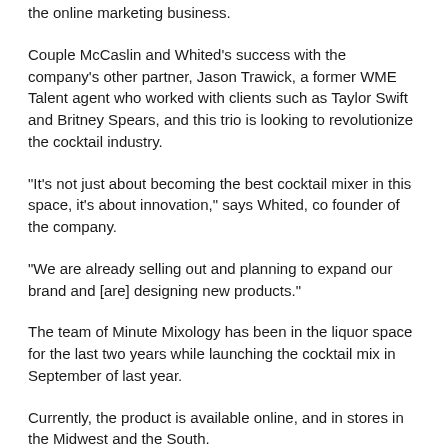the online marketing business.
Couple McCaslin and Whited's success with the company's other partner, Jason Trawick, a former WME Talent agent who worked with clients such as Taylor Swift and Britney Spears, and this trio is looking to revolutionize the cocktail industry.
"It's not just about becoming the best cocktail mixer in this space, it's about innovation," says Whited, co founder of the company.
"We are already selling out and planning to expand our brand and [are] designing new products."
The team of Minute Mixology has been in the liquor space for the last two years while launching the cocktail mix in September of last year.
Currently, the product is available online, and in stores in the Midwest and the South.
The Spring 2018 Minute Mixology will be available in Target, Meijer, Raley's and World Market.
Flavors include: Margarita, Moscow Mule, Spiced Old Fashion,